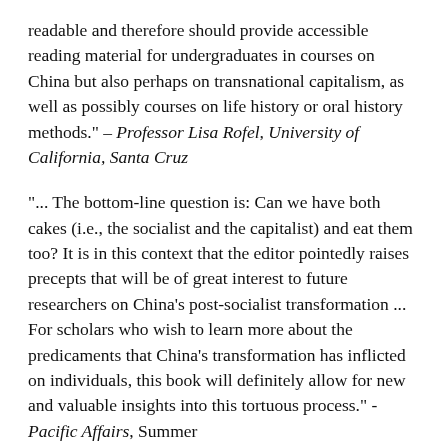readable and therefore should provide accessible reading material for undergraduates in courses on China but also perhaps on transnational capitalism, as well as possibly courses on life history or oral history methods." – Professor Lisa Rofel, University of California, Santa Cruz
"... The bottom-line question is: Can we have both cakes (i.e., the socialist and the capitalist) and eat them too? It is in this context that the editor pointedly raises precepts that will be of great interest to future researchers on China's post-socialist transformation ... For scholars who wish to learn more about the predicaments that China's transformation has inflicted on individuals, this book will definitely allow for new and valuable insights into this tortuous process." - Pacific Affairs, Summer